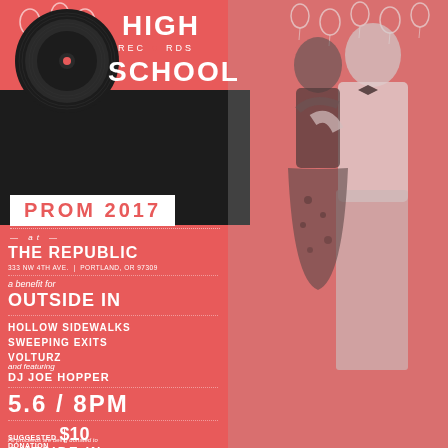[Figure (illustration): Event poster for High School Records Prom 2017. Red background with black and white photo of a dancing couple on the right side. Balloons decorating the top. Black bar across the upper portion containing the logo.]
HIGH SCHOOL RECORDS
PROM 2017
at
THE REPUBLIC
333 NW 4TH AVE. | PORTLAND, OR 97309
a benefit for
OUTSIDE IN
HOLLOW SIDEWALKS
SWEEPING EXITS
VOLTURZ
and featuring
DJ JOE HOPPER
5.6 / 8PM
SUGGESTED DONATION $10
All proceeds are being donated to
OUTSIDE IN